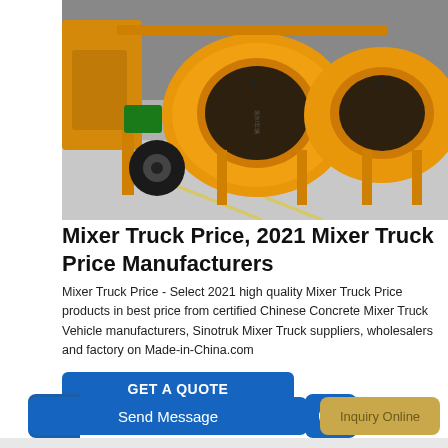[Figure (photo): Multiple yellow concrete mixer trucks / drum mixers parked in an industrial warehouse or factory floor. The mixers are bright orange-yellow with black tires and green motor components visible.]
Mixer Truck Price, 2021 Mixer Truck Price Manufacturers
Mixer Truck Price - Select 2021 high quality Mixer Truck Price products in best price from certified Chinese Concrete Mixer Truck Vehicle manufacturers, Sinotruk Mixer Truck suppliers, wholesalers and factory on Made-in-China.com
GET A QUOTE
Send Message
Inquiry Online